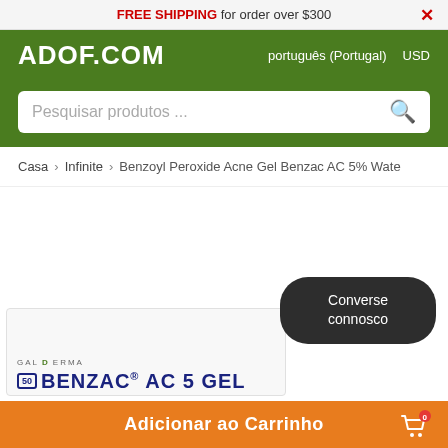FREE SHIPPING for order over $300
ADOF.COM
português (Portugal)   USD
Pesquisar produtos ...
Casa › Infinite › Benzoyl Peroxide Acne Gel Benzac AC 5% Wat...
[Figure (photo): Product photo of Benzac AC 5 Gel by Galderma, showing a white/blue product box with bold blue text reading BENZAC AC 5 GEL]
Converse connosco
Adicionar ao Carrinho